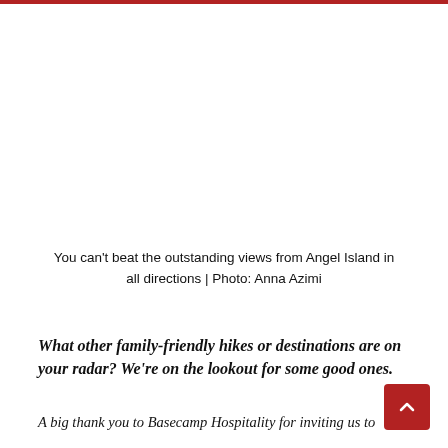You can't beat the outstanding views from Angel Island in all directions | Photo: Anna Azimi
What other family-friendly hikes or destinations are on your radar? We're on the lookout for some good ones.
A big thank you to Basecamp Hospitality for inviting us to